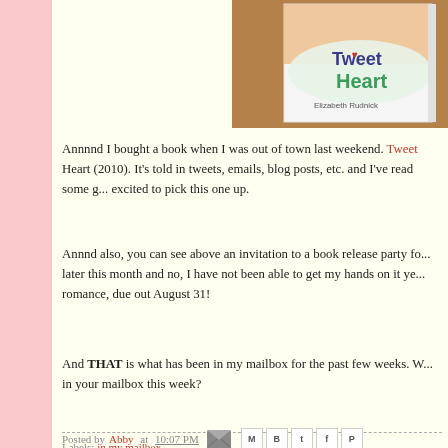[Figure (photo): Book cover of 'Tweet Heart' by Elizabeth Rudnick, showing a close-up of a girl's face and the book title in colorful text, placed on a brown surface]
Annnnd I bought a book when I was out of town last weekend. Tweet Heart (2010). It's told in tweets, emails, blog posts, etc. and I've read some g... excited to pick this one up.
Annnd also, you can see above an invitation to a book release party fo... later this month and no, I have not been able to get my hands on it ye... romance, due out August 31!
And THAT is what has been in my mailbox for the past few weeks. W... in your mailbox this week?
Posted by Abby at 10:07 PM    Labels: in my mailbox